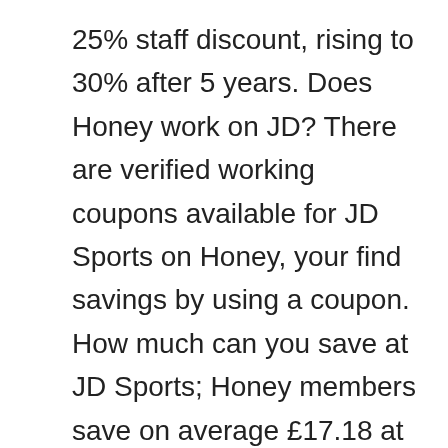25% staff discount, rising to 30% after 5 years. Does Honey work on JD? There are verified working coupons available for JD Sports on Honey, your find savings by using a coupon. How much can you save at JD Sports; Honey members save on average £17.18 at JD Sports.
We'll cover how do you get